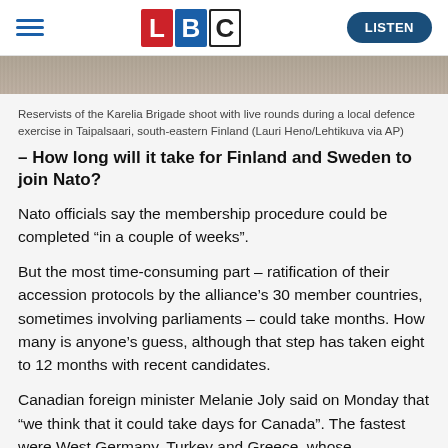LBC | LISTEN
[Figure (photo): Reservists of the Karelia Brigade shooting with live rounds during a local defence exercise in Taipalsaari, south-eastern Finland]
Reservists of the Karelia Brigade shoot with live rounds during a local defence exercise in Taipalsaari, south-eastern Finland (Lauri Heno/Lehtikuva via AP)
– How long will it take for Finland and Sweden to join Nato?
Nato officials say the membership procedure could be completed “in a couple of weeks”.
But the most time-consuming part – ratification of their accession protocols by the alliance’s 30 member countries, sometimes involving parliaments – could take months. How many is anyone’s guess, although that step has taken eight to 12 months with recent candidates.
Canadian foreign minister Melanie Joly said on Monday that “we think that it could take days for Canada”. The fastest were West Germany, Turkey and Greece, whose endorsement